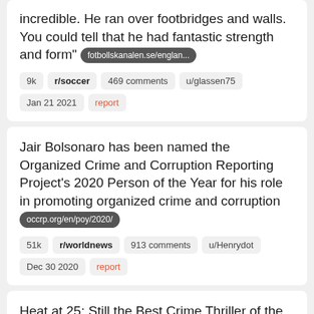incredible. He ran over footbridges and walls. You could tell that he had fantastic strength and form" fotbollskanalen.se/englan...
9k  r/soccer  469 comments  u/glassen75  Jan 21 2021  report
Jair Bolsonaro has been named the Organized Crime and Corruption Reporting Project's 2020 Person of the Year for his role in promoting organized crime and corruption occrp.org/en/poy/2020/
51k  r/worldnews  913 comments  u/Henrydot  Dec 30 2020  report
Heat at 25: Still the Best Crime Thriller of the Modern Era